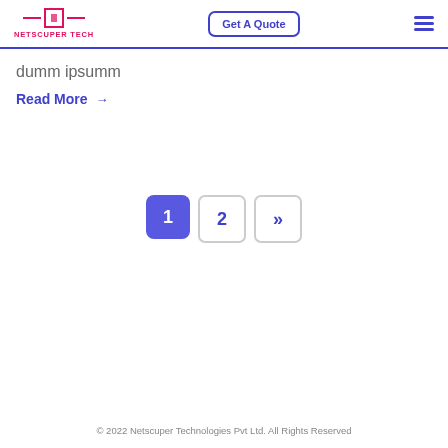NETSCUPER TECH | Get A Quote
dumm ipsumm
Read More →
[Figure (other): Pagination controls: page 1 (active, blue background), page 2, and next (>>) buttons]
© 2022 Netscuper Technologies Pvt Ltd. All Rights Reserved